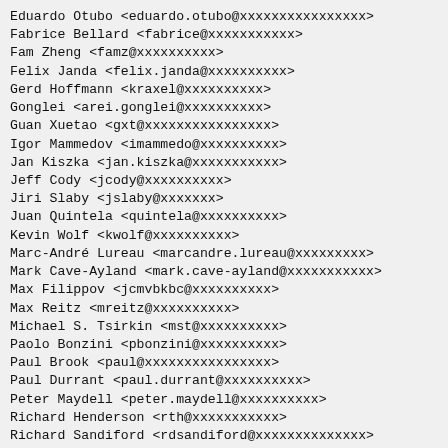Eduardo Otubo <eduardo.otubo@xxxxxxxxxxxxxxxx>
Fabrice Bellard <fabrice@xxxxxxxxxxx>
Fam Zheng <famz@xxxxxxxxxx>
Felix Janda <felix.janda@xxxxxxxxxx>
Gerd Hoffmann <kraxel@xxxxxxxxxx>
Gonglei <arei.gonglei@xxxxxxxxxx>
Guan Xuetao <gxt@xxxxxxxxxxxxxxxx>
Igor Mammedov <imammedo@xxxxxxxxxx>
Jan Kiszka <jan.kiszka@xxxxxxxxxxx>
Jeff Cody <jcody@xxxxxxxxxx>
Jiri Slaby <jslaby@xxxxxxx>
Juan Quintela <quintela@xxxxxxxxxx>
Kevin Wolf <kwolf@xxxxxxxxxx>
Marc-André Lureau <marcandre.lureau@xxxxxxxxx>
Mark Cave-Ayland <mark.cave-ayland@xxxxxxxxxxx>
Max Filippov <jcmvbkbc@xxxxxxxxxx>
Max Reitz <mreitz@xxxxxxxxxx>
Michael S. Tsirkin <mst@xxxxxxxxxx>
Paolo Bonzini <pbonzini@xxxxxxxxxx>
Paul Brook <paul@xxxxxxxxxxxxxxxx>
Paul Durrant <paul.durrant@xxxxxxxxxx>
Peter Maydell <peter.maydell@xxxxxxxxxx>
Richard Henderson <rth@xxxxxxxxxxx>
Richard Sandiford <rdsandiford@xxxxxxxxxxxxxx>
Riku Voipio <riku.voipio@xxxxxxxxxx>